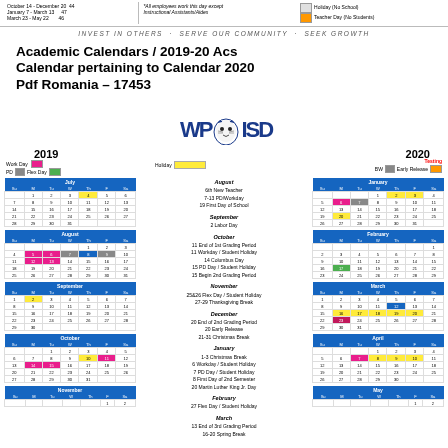October 14 - December 20: 44 days | January 7 - March 13: 47 days | March 23 - May 22: 46 days | *All employees work this day except Instructional Assistants/Aides | Holiday (No School) | Teacher Day (No Students)
INVEST IN OTHERS · SERVE OUR COMMUNITY · SEEK GROWTH
Academic Calendars / 2019-20 Acs Calendar pertaining to Calendar 2020 Pdf Romania – 17453
[Figure (other): WPISD tiger mascot logo with school name text]
2019
2020
| Su | M | Tu | W | Th | F | Sa |
| --- | --- | --- | --- | --- | --- | --- |
|  | 1 | 2 | 3 | 4 | 5 | 6 |
| 7 | 8 | 9 | 10 | 11 | 12 | 13 |
| 14 | 15 | 16 | 17 | 18 | 19 | 20 |
| 21 | 22 | 23 | 24 | 25 | 26 | 27 |
| 28 | 29 | 30 | 31 |  |  |   |
| Su | M | Tu | W | Th | F | Sa |
| --- | --- | --- | --- | --- | --- | --- |
|  |  |  |  | 1 | 2 | 3 |
| 4 | 5 | 6 | 7 | 8 | 9 | 10 |
| 11 | 12 | 13 | 14 | 15 | 16 | 17 |
| 18 | 19 | 20 | 21 | 22 | 23 | 24 |
| 25 | 26 | 27 | 28 | 29 | 30 | 31 |
| Su | M | Tu | W | Th | F | Sa |
| --- | --- | --- | --- | --- | --- | --- |
| 1 | 2 | 3 | 4 | 5 | 6 | 7 |
| 8 | 9 | 10 | 11 | 12 | 13 | 14 |
| 15 | 16 | 17 | 18 | 19 | 20 | 21 |
| 22 | 23 | 24 | 25 | 26 | 27 | 28 |
| 29 | 30 |  |  |   |  |  |
| Su | M | Tu | W | Th | F | Sa |
| --- | --- | --- | --- | --- | --- | --- |
|  |  | 1 | 2 | 3 | 4 | 5 |
| 6 | 7 | 8 | 9 | 10 | 11 | 12 |
| 13 | 14 | 15 | 16 | 17 | 18 | 19 |
| 20 | 21 | 22 | 23 | 24 | 25 | 26 |
| 27 | 28 | 29 | 30 | 31 |  |  |
November (partial)
| Su | M | Tu | W | Th | F | Sa |
| --- | --- | --- | --- | --- | --- | --- |
|  |  |  | 1 | 2 | 3 | 4 |
| 5 | 6 | 7 | 8 | 9 | 10 | 11 |
| 12 | 13 | 14 | 15 | 16 | 17 | 18 |
| 19 | 20 | 21 | 22 | 23 | 24 | 25 |
| 26 | 27 | 28 | 29 | 30 | 31 |  |
| Su | M | Tu | W | Th | F | Sa |
| --- | --- | --- | --- | --- | --- | --- |
|  |  |  |  |  |  | 1 |
| 2 | 3 | 4 | 5 | 6 | 7 | 8 |
| 9 | 10 | 11 | 12 | 13 | 14 | 15 |
| 16 | 17 | 18 | 19 | 20 | 21 | 22 |
| 23 | 24 | 25 | 26 | 27 | 28 | 29 |
| Su | M | Tu | W | Th | F | Sa |
| --- | --- | --- | --- | --- | --- | --- |
| 1 | 2 | 3 | 4 | 5 | 6 | 7 |
| 8 | 9 | 10 | 11 | 12 | 13 | 14 |
| 15 | 16 | 17 | 18 | 19 | 20 | 21 |
| 22 | 23 | 24 | 25 | 26 | 27 | 28 |
| 29 | 30 | 31 |  |  |   |  |
| Su | M | Tu | W | Th | F | Sa |
| --- | --- | --- | --- | --- | --- | --- |
|  |  |  | 1 | 2 | 3 | 4 |
| 5 | 6 | 7 | 8 | 9 | 10 | 11 |
| 12 | 13 | 14 | 15 | 16 | 17 | 18 |
| 19 | 20 | 21 | 22 | 23 | 24 | 25 |
| 26 | 27 | 28 | 29 | 30 |  |  |
May (partial)
August: 6th New Teacher, 7-13 PD/Workday, 19 First Day of School
September: 2 Labor Day
October: 11 End of 1st Grading Period, 11 Workday/Student Holiday, 14 Columbus Day, 15 PD Day/Student Holiday, 15 Begin 2nd Grading Period
November: 25&26 Flex Day/Student Holiday, 27-29 Thanksgiving Break
December: 20 End of 2nd Grading Period, 20 Early Release, 21-31 Christmas Break
January: 1-3 Christmas Break, 6 Workday/Student Holiday, 7 PD Day/Student Holiday, 8 First Day of 2nd Semester, 20 Martin Luther King Jr. Day
February: 27 Flex Day/Student Holiday
March: 13 End of 3rd Grading Period, 16-20 Spring Break